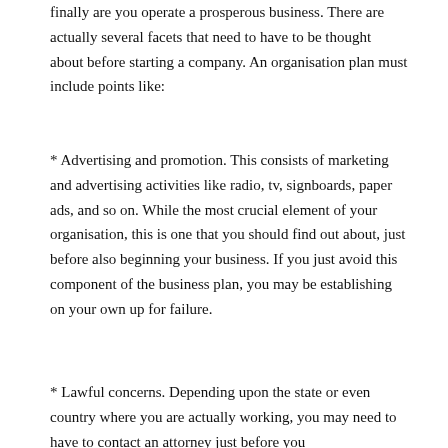...finally are you operate a prosperous business. There are actually several facets that need to have to be thought about before starting a company. An organisation plan must include points like:
* Advertising and promotion. This consists of marketing and advertising activities like radio, tv, signboards, paper ads, and so on. While the most crucial element of your organisation, this is one that you should find out about, just before also beginning your business. If you just avoid this component of the business plan, you may be establishing on your own up for failure.
* Lawful concerns. Depending upon the state or even country where you are actually working, you may need to have to contact an attorney just before you